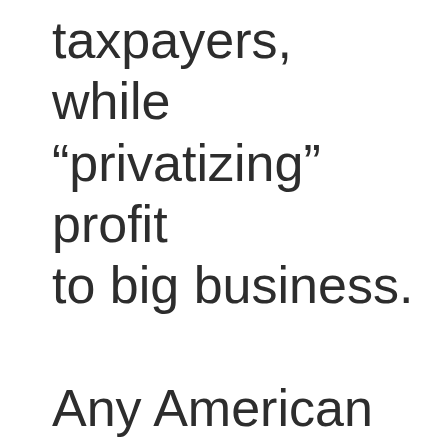taxpayers, while “privatizing” profit to big business. Any American capitalist who complains — with a straight face